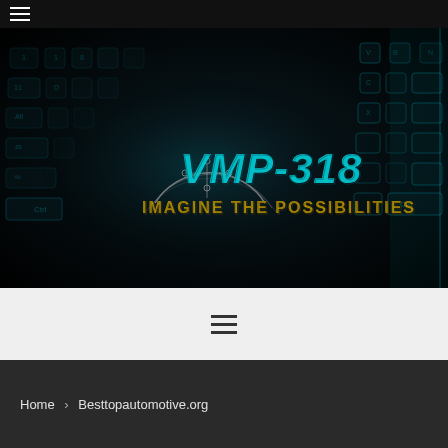[Figure (screenshot): Website header with hamburger menu icon on dark top bar, hero image of illuminated keyboard in dark background with VMP-318 'Imagine the Possibilities' logo overlay, a light gray navigation bar with hamburger menu icon, and a dark breadcrumb bar showing 'Home > Besttopautomotive.org']
Home > Besttopautomotive.org